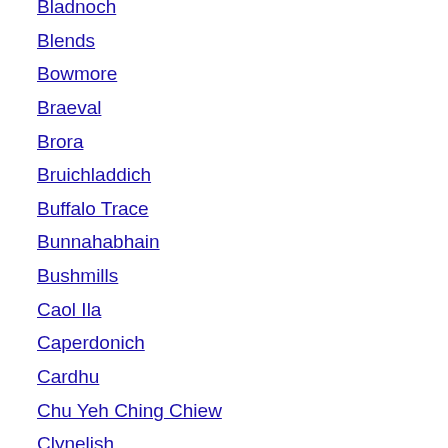Bladnoch
Blends
Bowmore
Braeval
Brora
Bruichladdich
Buffalo Trace
Bunnahabhain
Bushmills
Caol Ila
Caperdonich
Cardhu
Chu Yeh Ching Chiew
Clynelish
Coleburn
Compass Box
Connemara
Convalmore